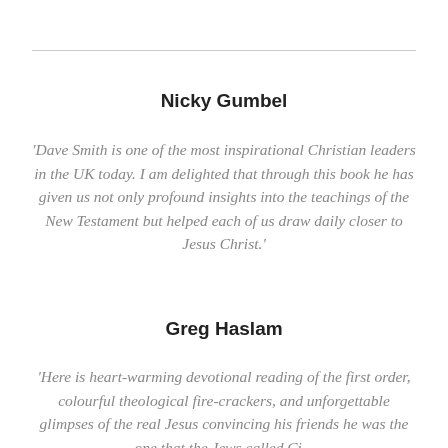Nicky Gumbel
'Dave Smith is one of the most inspirational Christian leaders in the UK today. I am delighted that through this book he has given us not only profound insights into the teachings of the New Testament but helped each of us draw daily closer to Jesus Christ.'
Greg Haslam
'Here is heart-warming devotional reading of the first order, colourful theological fire-crackers, and unforgettable glimpses of the real Jesus convincing his friends he was the one that the Jews called Christ...